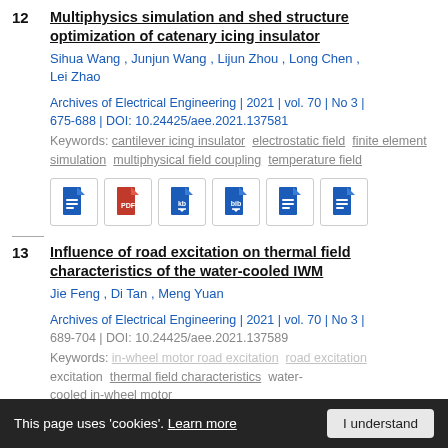12 Multiphysics simulation and shed structure optimization of catenary icing insulator
Sihua Wang , Junjun Wang , Lijun Zhou , Long Chen , Lei Zhao
Archives of Electrical Engineering | 2021 | vol. 70 | No 3 | 675-688 | DOI: 10.24425/aee.2021.137581
Keywords: cantilever icing insulator electrostatic field finite element simulation multiphysical field coupling temperature field
13 Influence of road excitation on thermal field characteristics of the water-cooled IWM
Jie Feng , Di Tan , Meng Yuan
Archives of Electrical Engineering | 2021 | vol. 70 | No 3 | 689-704 | DOI: 10.24425/aee.2021.137589
Keywords: in-wheel motor road excitation thermal field characteristics water-cooled in-wheel motor
This page uses 'cookies'. Learn more